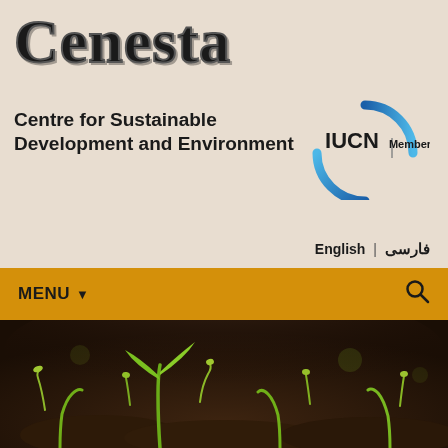Cenesta
Centre for Sustainable Development and Environment
[Figure (logo): IUCN Member logo — circular blue arc with IUCN text and Member label]
English | فارسی
MENU ▾
[Figure (photo): Close-up photo of multiple small seedling sprouts emerging from dark soil, with one prominent green seedling in the foreground]